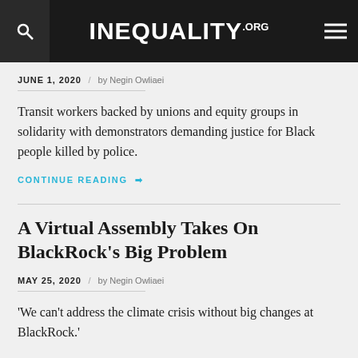INEQUALITY.ORG
JUNE 1, 2020 / by Negin Owliaei
Transit workers backed by unions and equity groups in solidarity with demonstrators demanding justice for Black people killed by police.
CONTINUE READING →
A Virtual Assembly Takes On BlackRock's Big Problem
MAY 25, 2020 / by Negin Owliaei
'We can't address the climate crisis without big changes at BlackRock.'